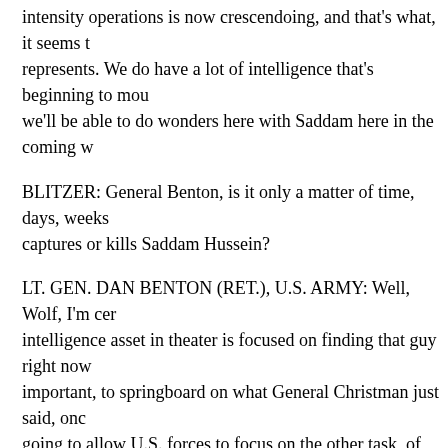intensity operations is now crescendoing, and that's what, it seems to represents. We do have a lot of intelligence that's beginning to mou we'll be able to do wonders here with Saddam here in the coming w
BLITZER: General Benton, is it only a matter of time, days, weeks captures or kills Saddam Hussein?
LT. GEN. DAN BENTON (RET.), U.S. ARMY: Well, Wolf, I'm cer intelligence asset in theater is focused on finding that guy right now important, to springboard on what General Christman just said, onc going to allow U.S. forces to focus on the other task, of nation-buil the many agencies there that have got to get their agencies up and c running again in Iraq.
But the second thing is, I think it will put an end to the discussion o a guerrilla campaign, a planned campaign going on, as opposed to j